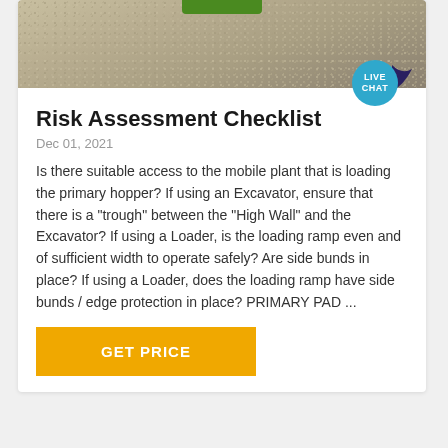[Figure (photo): Aerial or close-up photo of gravel/quarry ground surface with green machinery element visible at top center]
Risk Assessment Checklist
Dec 01, 2021
Is there suitable access to the mobile plant that is loading the primary hopper? If using an Excavator, ensure that there is a "trough" between the "High Wall" and the Excavator? If using a Loader, is the loading ramp even and of sufficient width to operate safely? Are side bunds in place? If using a Loader, does the loading ramp have side bunds / edge protection in place? PRIMARY PAD ...
GET PRICE